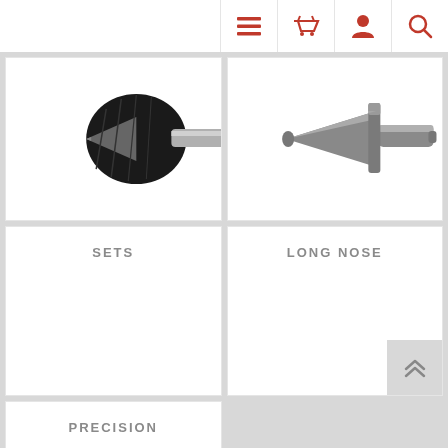Navigation icons: menu, basket, user, search
[Figure (photo): Close-up of a black and silver lathe center/live center tool with a pointed conical tip]
[Figure (photo): Metal lathe tool adapter or arbor with a conical taper and cylindrical shaft on a white background]
SETS
LONG NOSE
PRECISION